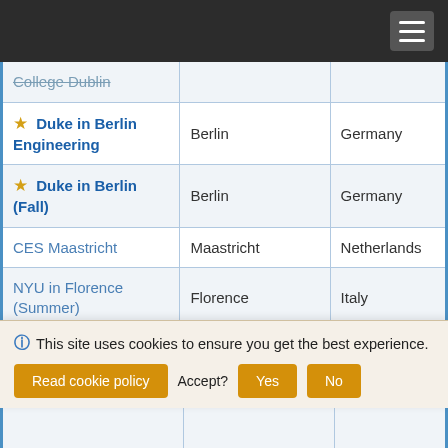| Program | City | Country |
| --- | --- | --- |
| College Dublin (strikethrough) |  |  |
| ★ Duke in Berlin Engineering | Berlin | Germany |
| ★ Duke in Berlin (Fall) | Berlin | Germany |
| CES Maastricht | Maastricht | Netherlands |
| NYU in Florence (Summer) | Florence | Italy |
| Arcadia - Oxford University | Oxford | United Kingdom |
| SIT - Switzerland: International... |  |  |
| IFCA - King's... |  |  |
ℹ This site uses cookies to ensure you get the best experience. Read cookie policy  Accept?  Yes  No